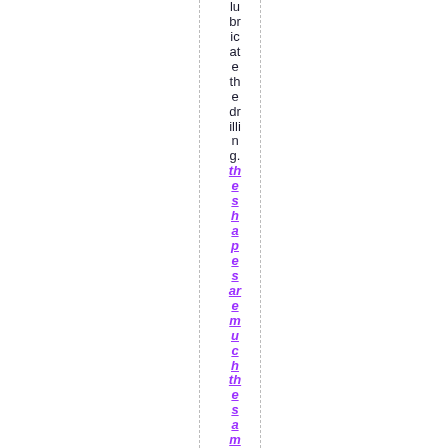lubricate the drilling. the shapes are much the same